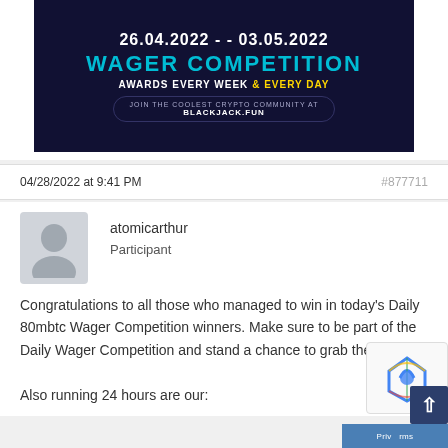[Figure (illustration): Wager Competition promotional banner showing dates 26.04.2022 - 03.05.2022, 'WAGER COMPETITION' in teal, 'AWARDS EVERY WEEK & EVERY DAY', and 'JOIN THE COOLEST CRYPTO COMMUNITY AT BLACKJACK.FUN' on dark background]
04/28/2022 at 9:41 PM
#877711
atomicarthur
Participant
Congratulations to all those who managed to win in today's Daily 80mbtc Wager Competition winners. Make sure to be part of the Daily Wager Competition and stand a chance to grab the prizes!!!

Also running 24 hours are our: